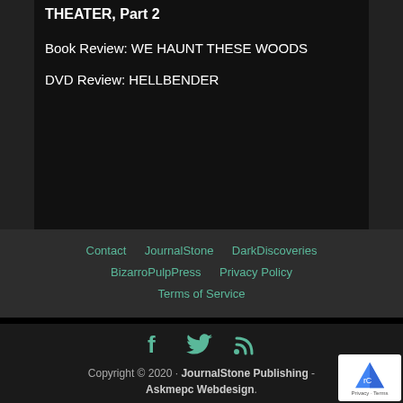THEATER, Part 2
Book Review: WE HAUNT THESE WOODS
DVD Review: HELLBENDER
Contact | JournalStone | DarkDiscoveries | BizarroPulpPress | Privacy Policy | Terms of Service
Copyright © 2020 · JournalStone Publishing · Askmepc Webdesign.